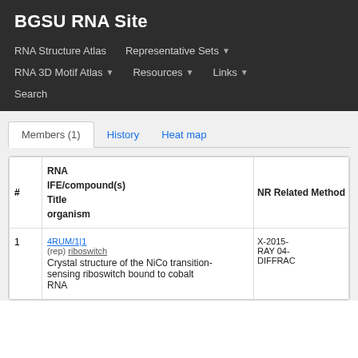BGSU RNA Site
RNA Structure Atlas | Representative Sets | RNA 3D Motif Atlas | Resources | Links | Search
Members (1) | History | Heat map
| # | IFE/ID
RNA Title
Compound(s)
organism | NR
Related
Method |
| --- | --- | --- |
| 1 | 4RUM/1|1
(rep) RiboStitucture of the NiCo transition-sensing riboswitch bound to cobalt RNA | X-RAY
2015-04-
DIFFRAC |